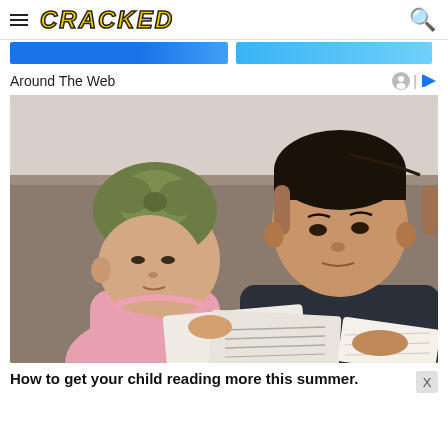CRACKED
[Figure (screenshot): Cracked website header with hamburger menu, CRACKED logo in yellow italic bold text, and search icon]
[Figure (photo): Two children sitting on a couch reading a book together — a baby wearing an olive green turban hat and a pink sweater, and an older boy in a dark t-shirt with a fade haircut]
Around The Web
How to get your child reading more this summer.